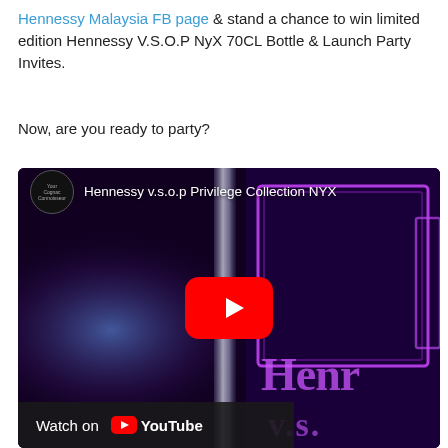Hennessy Malaysia FB page & stand a chance to win limited edition Hennessy V.S.O.P NyX 70CL Bottle & Launch Party Invites.
Now, are you ready to party?
[Figure (screenshot): Embedded YouTube video thumbnail showing Hennessy V.S.O.P Privilege Collection NYX. Dark background with purple neon lighting illuminating a bottle and 'Henr' and 'v.s.' text visible. A red YouTube play button is centered. Bottom-left shows 'Watch on YouTube' bar. Top-left shows a circular channel icon with text 'Hennessy V.s.o.p Privilege Collection NYX'.]